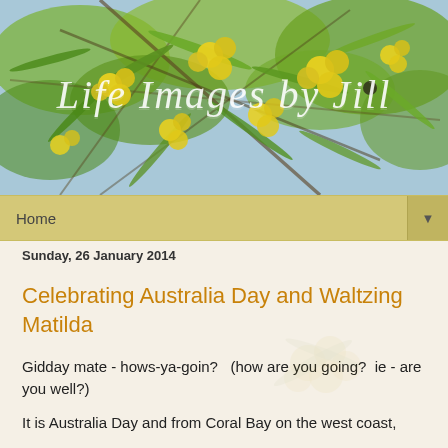[Figure (photo): Header photo of yellow wattle flowers (acacia) with green leaves against a blue sky background, with overlaid text 'Life Images by Jill' in a decorative white script font.]
Home ▼
Sunday, 26 January 2014
Celebrating Australia Day and Waltzing Matilda
Gidday mate - hows-ya-goin?  (how are you going?  ie - are you well?)
It is Australia Day and from Coral Bay on the west coast,